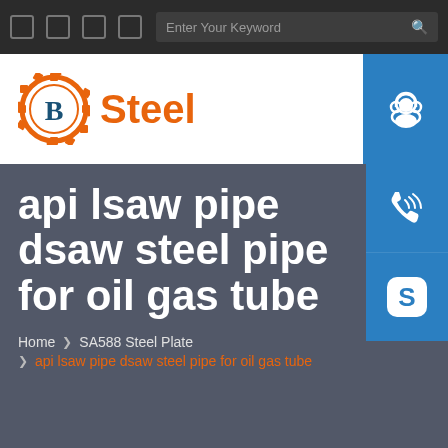Enter Your Keyword
[Figure (logo): B Steel company logo with gear/cog icon and orange Steel text]
[Figure (infographic): Three blue contact buttons on right side: headset/support icon, phone/call icon, Skype icon]
api lsaw pipe dsaw steel pipe for oil gas tube
Home › SA588 Steel Plate
› api lsaw pipe dsaw steel pipe for oil gas tube